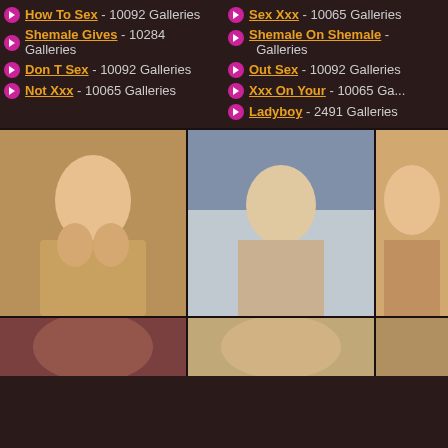How To Sex - 10092 Galleries
Sex Xxx - 10065 Galleries
Shemale Gives - 10284 Galleries
Shemale On Shemale - Galleries
Don T Sex - 10092 Galleries
Out Sex - 10092 Galleries
Not Xxx - 10065 Galleries
Xxx On Your - 10065 Ga...
Ladyboy - 2491 Galleries
[Figure (photo): Thumbnail images grid showing adult content website thumbnails - three columns of photo thumbnails]